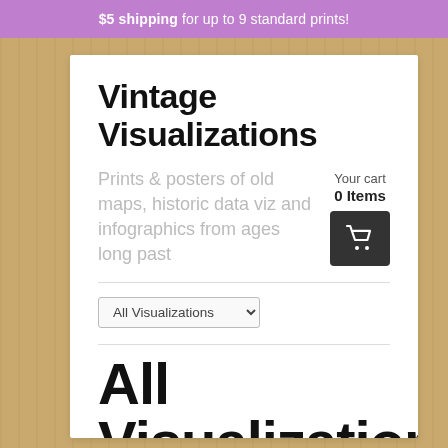$5 shipping for up to 9 standard prints!
Vintage Visualizations
Prints & posters of old maps, historic data viz and infographics from ages long past
Your cart
0 Items
All Visualizations
All Visualizations  Sort by  Newest to Oldest   pie